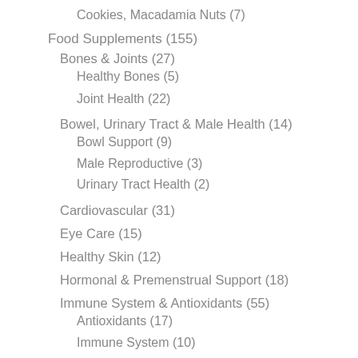Cookies, Macadamia Nuts (7)
Food Supplements (155)
Bones & Joints (27)
Healthy Bones (5)
Joint Health (22)
Bowel, Urinary Tract & Male Health (14)
Bowl Support (9)
Male Reproductive (3)
Urinary Tract Health (2)
Cardiovascular (31)
Eye Care (15)
Healthy Skin (12)
Hormonal & Premenstrual Support (18)
Immune System & Antioxidants (55)
Antioxidants (17)
Immune System (10)